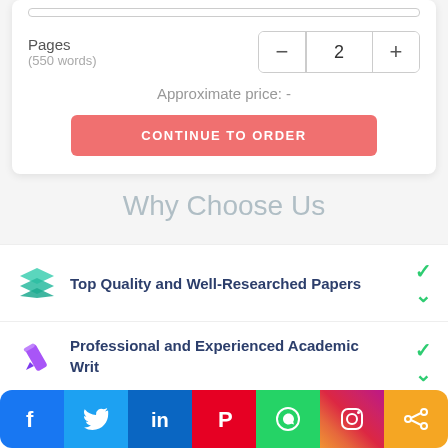Pages
(550 words)
Approximate price: -
CONTINUE TO ORDER
Why Choose Us
Top Quality and Well-Researched Papers
Professional and Experienced Academic Writers